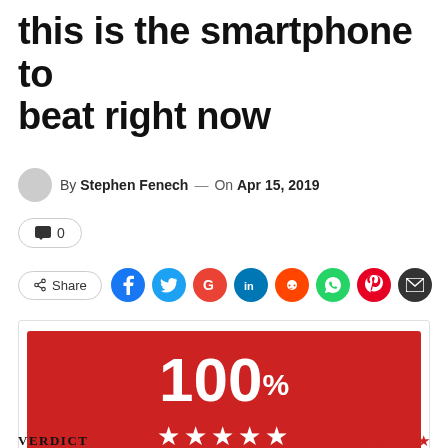this is the smartphone to beat right now
By Stephen Fenech — On Apr 15, 2019
💬 0
Share [social icons: Facebook, Twitter, Google, LinkedIn, Reddit, WhatsApp, Pinterest, Email]
[Figure (infographic): Red rating box showing 100% with 5 white stars]
VERDICT [red star rating]